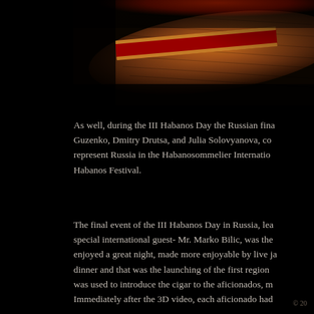[Figure (photo): Close-up photograph of a cigar with a red and gold band, set against a dark background]
As well, during the III Habanos Day the Russian fina Guzenko, Dmitry Drutsa, and Julia Solovyanova, co represent Russia in the Habanosommelier Internatio Habanos Festival.
The final event of the III Habanos Day in Russia, lea special international guest- Mr. Marko Bilic, was the enjoyed a great night, made more enjoyable by live ja dinner and that was the launching of the first region was used to introduce the cigar to the aficionados, m Immediately after the 3D video, each aficionado had
© 20